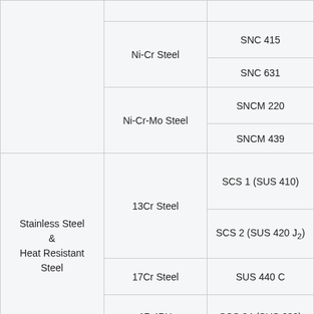| Category | Type | Grade |
| --- | --- | --- |
|  |  |  |
|  | Ni-Cr Steel | SNC 415 |
|  |  | SNC 631 |
|  | Ni-Cr-Mo Steel | SNCM 220 |
|  |  | SNCM 439 |
| Stainless Steel & Heat Resistant Steel | 13Cr Steel | SCS 1 (SUS 410) |
|  |  | SCS 2 (SUS 420 J₂) |
|  | 17Cr Steel | SUS 440 C |
|  | 17-4PH | SCS 24 (SUS 630) |
|  |  |  |